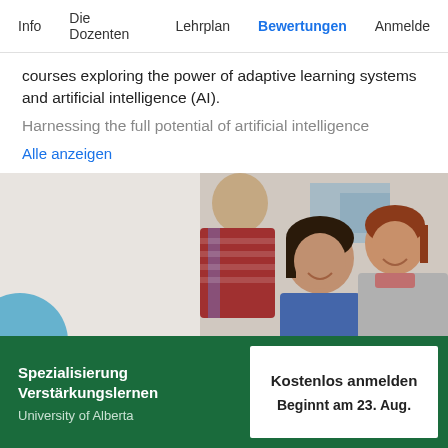Info   Die Dozenten   Lehrplan   Bewertungen   Anmelde
courses exploring the power of adaptive learning systems and artificial intelligence (AI).
Harnessing the full potential of artificial intelligence
Alle anzeigen
[Figure (photo): Three young people (two women and one man) gathered together smiling and looking at something, in an office or classroom setting.]
Spezialisierung Verstärkungslernen
University of Alberta
Kostenlos anmelden
Beginnt am 23. Aug.